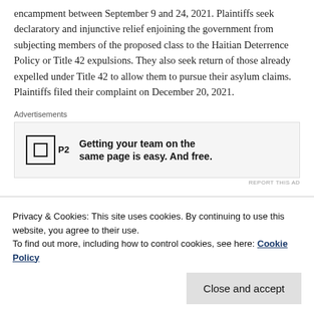encampment between September 9 and 24, 2021. Plaintiffs seek declaratory and injunctive relief enjoining the government from subjecting members of the proposed class to the Haitian Deterrence Policy or Title 42 expulsions. They also seek return of those already expelled under Title 42 to allow them to pursue their asylum claims. Plaintiffs filed their complaint on December 20, 2021.
[Figure (screenshot): Advertisement banner for P2 service: 'Getting your team on the same page is easy. And free.']
Counsel: Innovation Law Lab; Haitian Bridge Alliance;
Privacy & Cookies: This site uses cookies. By continuing to use this website, you agree to their use.
To find out more, including how to control cookies, see here: Cookie Policy